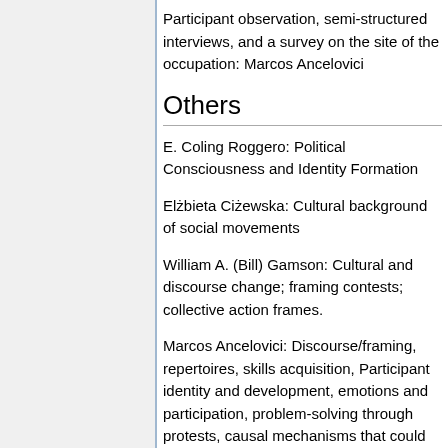Participant observation, semi-structured interviews, and a survey on the site of the occupation: Marcos Ancelovici
Others
E. Coling Roggero: Political Consciousness and Identity Formation
Elżbieta Ciżewska: Cultural background of social movements
William A. (Bill) Gamson: Cultural and discourse change; framing contests; collective action frames.
Marcos Ancelovici: Discourse/framing, repertoires, skills acquisition, Participant identity and development, emotions and participation, problem-solving through protests, causal mechanisms that could apply to these cases.